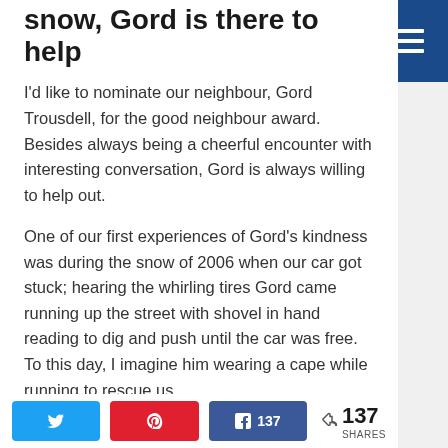snow, Gord is there to help
I'd like to nominate our neighbour, Gord Trousdell, for the good neighbour award. Besides always being a cheerful encounter with interesting conversation, Gord is always willing to help out.
One of our first experiences of Gord's kindness was during the snow of 2006 when our car got stuck; hearing the whirling tires Gord came running up the street with shovel in hand reading to dig and push until the car was free. To this day, I imagine him wearing a cape while running to rescue us.
Little did we know that this was one of many times Gord would be there to lend a helping hand.
Twitter | Pinterest | Facebook 137 | Share 137 SHARES